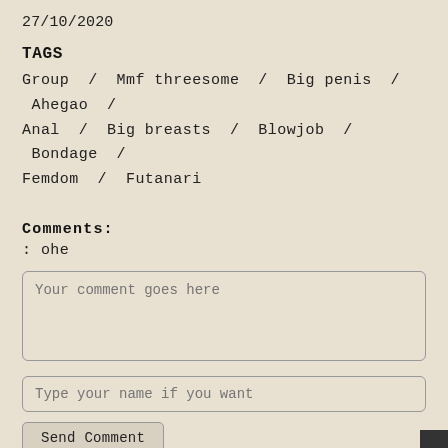27/10/2020
TAGS
Group / Mmf threesome / Big penis / Ahegao / Anal / Big breasts / Blowjob / Bondage / Femdom / Futanari
Comments:
: ohe
Your comment goes here
Type your name if you want
Send Comment